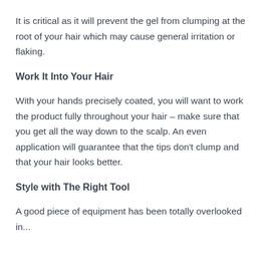It is critical as it will prevent the gel from clumping at the root of your hair which may cause general irritation or flaking.
Work It Into Your Hair
With your hands precisely coated, you will want to work the product fully throughout your hair – make sure that you get all the way down to the scalp. An even application will guarantee that the tips don't clump and that your hair looks better.
Style with The Right Tool
A good piece of equipment has been totally overlooked in...